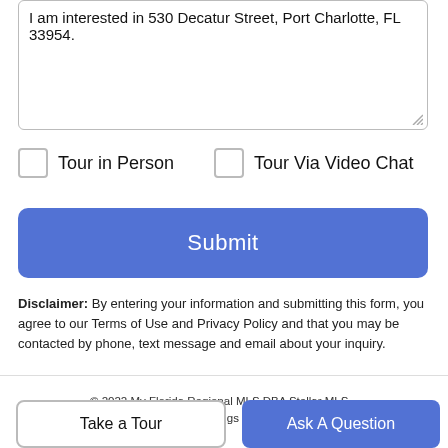I am interested in 530 Decatur Street, Port Charlotte, FL 33954.
Tour in Person   Tour Via Video Chat
Submit
Disclaimer: By entering your information and submitting this form, you agree to our Terms of Use and Privacy Policy and that you may be contacted by phone, text message and email about your inquiry.
© 2022 My Florida Regional MLS DBA Stellar MLS. All rights reserved. All listings displayed pursuant to
Take a Tour
Ask A Question